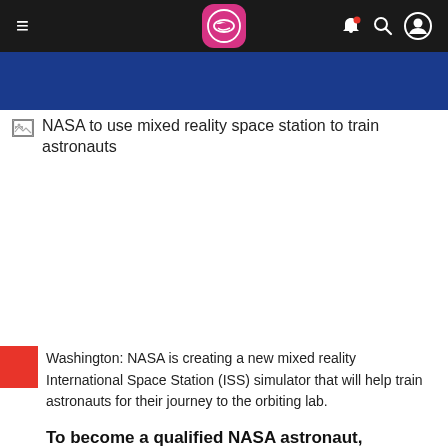≡  [Qantas logo]  🔔 🔍 👤
[Figure (other): Blue banner strip below navigation header]
[Figure (photo): Broken image placeholder with alt text: NASA to use mixed reality space station to train astronauts]
Washington: NASA is creating a new mixed reality International Space Station (ISS) simulator that will help train astronauts for their journey to the orbiting lab.
To become a qualified NASA astronaut, candidates